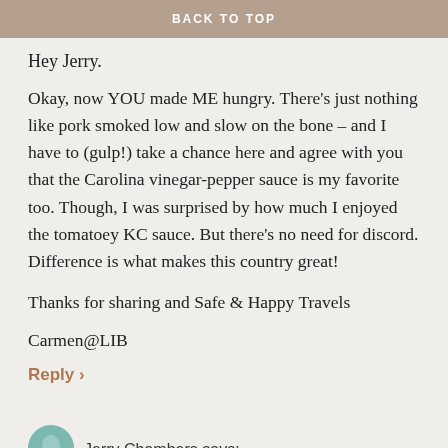BACK TO TOP
Hey Jerry.
Okay, now YOU made ME hungry. There’s just nothing like pork smoked low and slow on the bone – and I have to (gulp!) take a chance here and agree with you that the Carolina vinegar-pepper sauce is my favorite too. Though, I was surprised by how much I enjoyed the tomatoey KC sauce. But there’s no need for discord. Difference is what makes this country great!
Thanks for sharing and Safe & Happy Travels
Carmen@LIB
Reply ›
Jerry Chambers says: